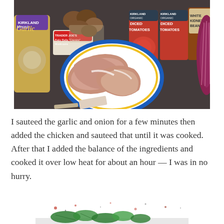[Figure (photo): Cooking ingredients on a dark countertop: Kirkland Minced Garlic jar, baby bella cremini mushrooms, two cans of Kirkland Organic Diced Tomatoes, a can of White Kidney Beans, a red onion, and a plate with three raw chicken breasts on a blue and yellow rimmed plate.]
I sauteed the garlic and onion for a few minutes then added the chicken and sauteed that until it was cooked. After that I added the balance of the ingredients and cooked it over low heat for about an hour — I was in no hurry.
[Figure (photo): A partial view of a white bowl or plate with a green leafy vegetable (spinach or kale) and some red specks, suggesting a cooked dish.]